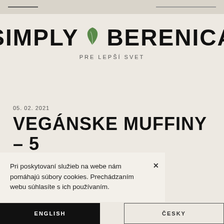SIMPLY BERENICA
PRE LEPŠÍ SVET
05. 02. 2021
VEGÁNSKE MUFFINY – 5 SLADKÝCH ZELENINOVÝCH
Pri poskytovaní služieb na webe nám pomáhajú súbory cookies. Prechádzaním webu súhlasíte s ich používaním.
ENGLISH
ČESKY